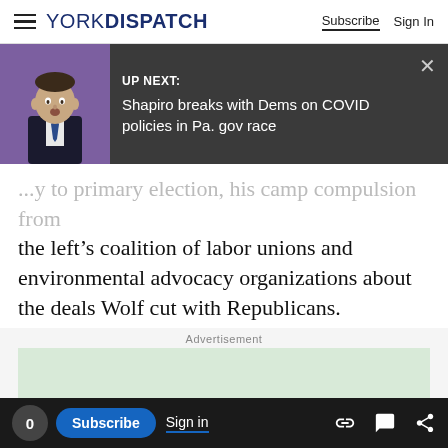YORK DISPATCH | Subscribe | Sign In
[Figure (screenshot): Up Next banner with thumbnail of a man in suit against purple background, dark grey panel with text: UP NEXT: Shapiro breaks with Dems on COVID policies in Pa. gov race, with X close button]
the left's coalition of labor unions and environmental advocacy organizations about the deals Wolf cut with Republicans.
Advertisement
[Figure (illustration): Green advertisement box with illustrated stacks of dollar bills at the bottom]
0 | Subscribe | Sign in